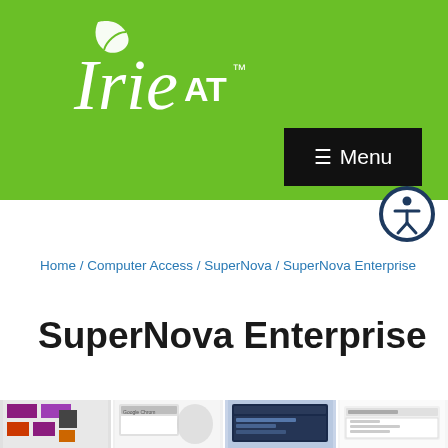[Figure (logo): Irie AT logo with leaf icon on green background]
☰ Menu
[Figure (illustration): Accessibility icon (person in circle) in dark blue/navy ring]
Home / Computer Access / SuperNova / SuperNova Enterprise
SuperNova Enterprise
[Figure (screenshot): Four product screenshot thumbnails at the bottom of the page showing SuperNova Enterprise software interfaces]